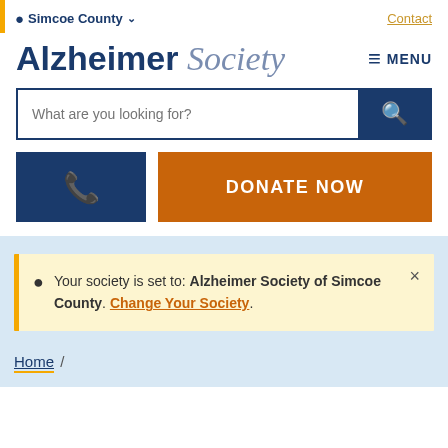Simcoe County  Contact
Alzheimer Society  MENU
What are you looking for?
DONATE NOW
Your society is set to: Alzheimer Society of Simcoe County. Change Your Society.
Home /